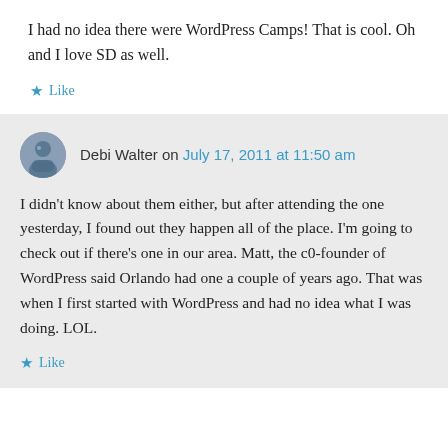I had no idea there were WordPress Camps! That is cool. Oh and I love SD as well.
★ Like
Debi Walter on July 17, 2011 at 11:50 am
I didn't know about them either, but after attending the one yesterday, I found out they happen all of the place. I'm going to check out if there's one in our area. Matt, the c0-founder of WordPress said Orlando had one a couple of years ago. That was when I first started with WordPress and had no idea what I was doing. LOL.
★ Like